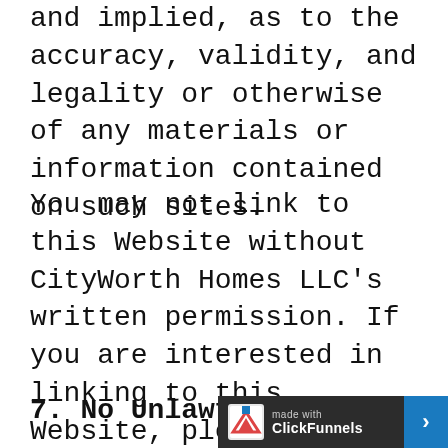and implied, as to the accuracy, validity, and legality or otherwise of any materials or information contained on such sites.
You may not link to this Website without CityWorth Homes LLC's written permission. If you are interested in linking to this Website, please contact support@cityworth.com.
7. No Unlawful Or Pro...